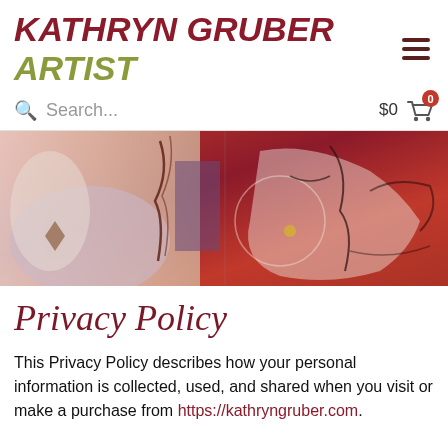KATHRYN GRUBER ARTIST
Search... $0 0
[Figure (photo): Abstract painting banner with reds, purples, and whites — mixed media expressionist artwork by Kathryn Gruber]
Privacy Policy
This Privacy Policy describes how your personal information is collected, used, and shared when you visit or make a purchase from https://kathryngruber.com.